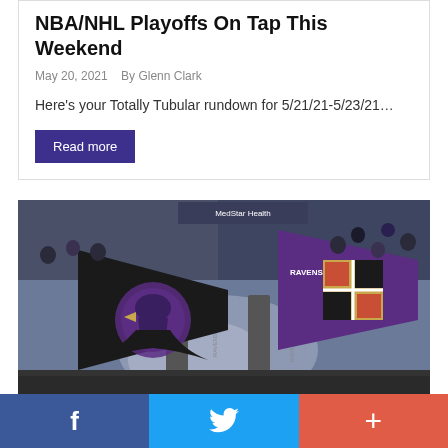NBA/NHL Playoffs On Tap This Weekend
May 20, 2021   By Glenn Clark
Here's your Totally Tubular rundown for 5/21/21-5/23/21…
Read more
[Figure (photo): Baltimore Ravens flags being waved by fans in a crowded stadium, with smoke and the MedStar Health banner visible in the background.]
f  [twitter bird]  +